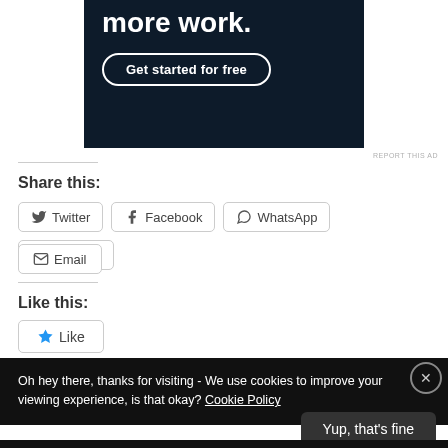[Figure (screenshot): Dark advertisement banner with text 'more work.' and a 'Get started for free' button with rounded border]
REPORT THIS AD
Share this:
Twitter
Facebook
WhatsApp
LinkedIn
Email
Like this:
Like
Oh hey there, thanks for visiting - We use cookies to improve your viewing experience, is that okay? Cookie Policy
Yup, that's fine